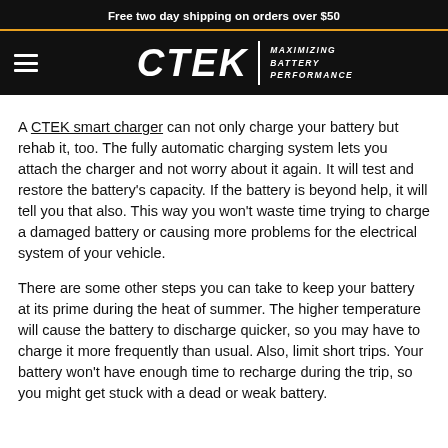Free two day shipping on orders over $50
[Figure (logo): CTEK logo with hamburger menu icon and tagline MAXIMIZING BATTERY PERFORMANCE on black background]
A CTEK smart charger can not only charge your battery but rehab it, too. The fully automatic charging system lets you attach the charger and not worry about it again. It will test and restore the battery's capacity. If the battery is beyond help, it will tell you that also. This way you won't waste time trying to charge a damaged battery or causing more problems for the electrical system of your vehicle.
There are some other steps you can take to keep your battery at its prime during the heat of summer. The higher temperature will cause the battery to discharge quicker, so you may have to charge it more frequently than usual. Also, limit short trips. Your battery won't have enough time to recharge during the trip, so you might get stuck with a dead or weak battery.